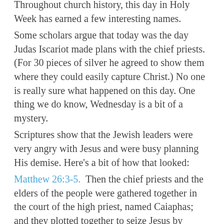Throughout church history, this day in Holy Week has earned a few interesting names.
Some scholars argue that today was the day Judas Iscariot made plans with the chief priests. (For 30 pieces of silver he agreed to show them where they could easily capture Christ.) No one is really sure what happened on this day. One thing we do know, Wednesday is a bit of a mystery.
Scriptures show that the Jewish leaders were very angry with Jesus and were busy planning His demise. Here's a bit of how that looked:
Matthew 26:3-5.  Then the chief priests and the elders of the people were gathered together in the court of the high priest, named Caiaphas; and they plotted together to seize Jesus by stealth and kill Him.
Moment to Catch:
So, where was Jesus when all of this was taking place? Well, He was heading back towards Bethany each evening. And, apparently, at the home of Simon